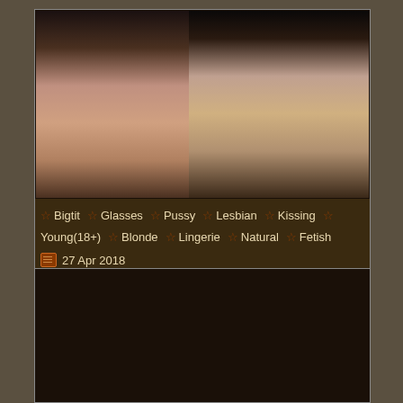[Figure (photo): Thumbnail image showing two blonde women in a dark room scene]
☆ Bigtit ☆ Glasses ☆ Pussy ☆ Lesbian ☆ Kissing ☆ Young(18+) ☆ Blonde ☆ Lingerie ☆ Natural ☆ Fetish
27 Apr 2018
[Figure (photo): Second card with black thumbnail image]